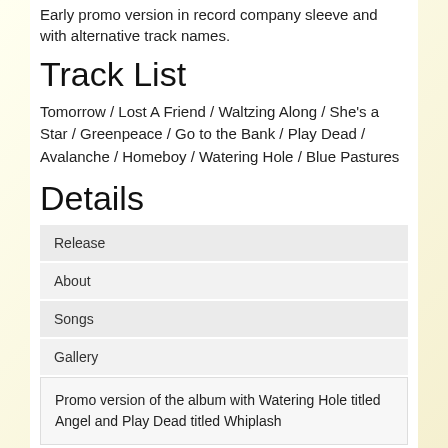Early promo version in record company sleeve and with alternative track names.
Track List
Tomorrow / Lost A Friend / Waltzing Along / She's a Star / Greenpeace / Go to the Bank / Play Dead / Avalanche / Homeboy / Watering Hole / Blue Pastures
Details
| Release |
| About |
| Songs |
| Gallery |
Promo version of the album with Watering Hole titled Angel and Play Dead titled Whiplash